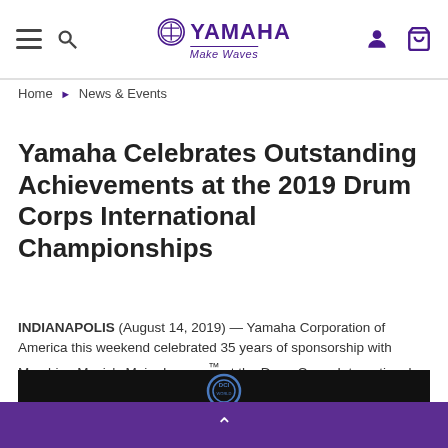Yamaha Make Waves — navigation header
Home > News & Events
Yamaha Celebrates Outstanding Achievements at the 2019 Drum Corps International Championships
INDIANAPOLIS (August 14, 2019) — Yamaha Corporation of America this weekend celebrated 35 years of sponsorship with Marching Music's Major League™ at the Drum Corps International (DCI) World Championship finals at Lucas Oil Stadium.
[Figure (screenshot): Dark banner image showing DCI World logo and text 'THE DRUM CORPS INTERNATIONAL']
Purple footer bar with up chevron